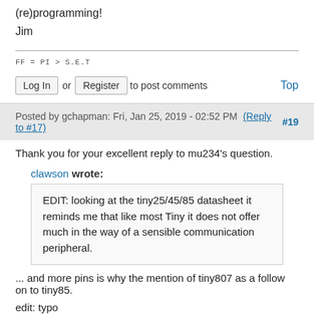(re)programming!
Jim
FF = PI > S.E.T
Log In or Register to post comments   Top
Posted by gchapman: Fri, Jan 25, 2019 - 02:52 PM (Reply to #17)   #19
Thank you for your excellent reply to mu234's question.
clawson wrote:
EDIT: looking at the tiny25/45/85 datasheet it reminds me that like most Tiny it does not offer much in the way of a sensible communication peripheral.
... and more pins is why the mention of tiny807 as a follow on to tiny85.
edit: typo